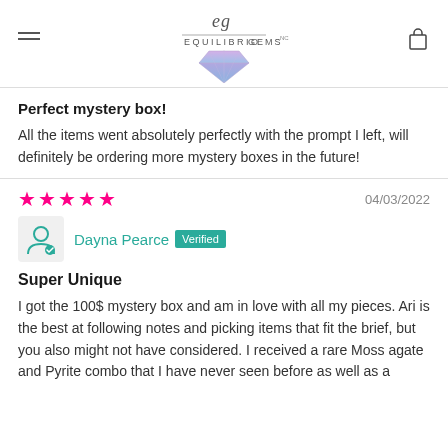[Figure (logo): Equilibrio Gems logo with stylized diamond gemstone in purple/blue gradient and cursive 'eg' script above the wordmark 'EQUILIBRIO GEMS']
Perfect mystery box!
All the items went absolutely perfectly with the prompt I left, will definitely be ordering more mystery boxes in the future!
04/03/2022
Dayna Pearce Verified
Super Unique
I got the 100$ mystery box and am in love with all my pieces. Ari is the best at following notes and picking items that fit the brief, but you also might not have considered. I received a rare Moss agate and Pyrite combo that I have never seen before as well as a